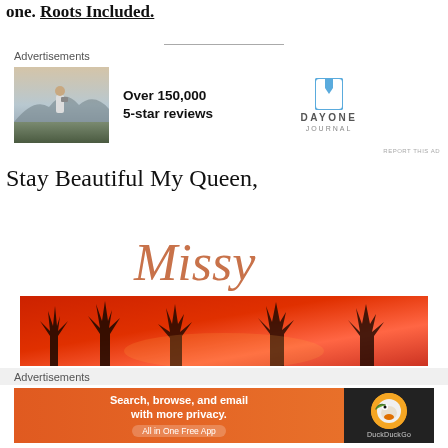one. Roots Included.
[Figure (illustration): Advertisement banner for Day One Journal app showing a man photographing a misty mountain landscape, text 'Over 150,000 5-star reviews', and the Day One Journal logo with bookmark icon.]
Stay Beautiful My Queen,
[Figure (illustration): Cursive signature 'Missy' in copper/rose gold color]
[Figure (photo): Red dramatic sky with silhouetted bare tree branches]
[Figure (illustration): Advertisement banner for DuckDuckGo app: 'Search, browse, and email with more privacy. All in One Free App' with DuckDuckGo duck logo on dark background.]